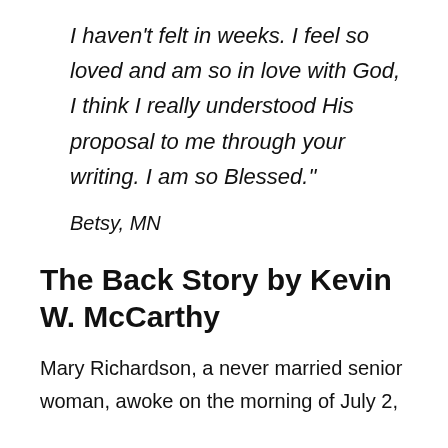I haven't felt in weeks. I feel so loved and am so in love with God, I think I really understood His proposal to me through your writing. I am so Blessed.”
Betsy, MN
The Back Story by Kevin W. McCarthy
Mary Richardson, a never married senior woman, awoke on the morning of July 2,